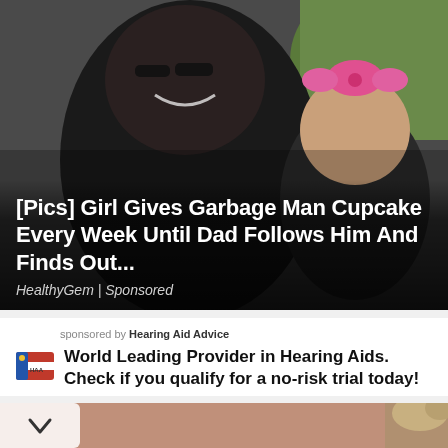[Figure (photo): A smiling man wearing sunglasses and dark clothing posing with a young blonde girl wearing a pink bow, outdoors]
[Pics] Girl Gives Garbage Man Cupcake Every Week Until Dad Follows Him And Finds Out...
HealthyGem | Sponsored
sponsored by Hearing Aid Advice
World Leading Provider in Hearing Aids. Check if you qualify for a no-risk trial today!
[Figure (photo): Partial bottom strip showing blurred brownish/skin-tone image on left and partial image of a person on the right]